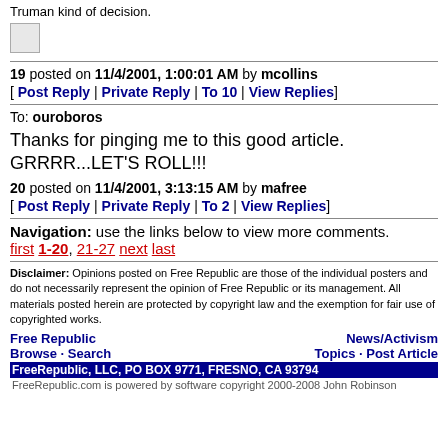Truman kind of decision.
[Figure (photo): Small broken/placeholder image icon]
19 posted on 11/4/2001, 1:00:01 AM by mcollins
[ Post Reply | Private Reply | To 10 | View Replies]
To: ouroboros
Thanks for pinging me to this good article. GRRRR...LET'S ROLL!!!
20 posted on 11/4/2001, 3:13:15 AM by mafree
[ Post Reply | Private Reply | To 2 | View Replies]
Navigation: use the links below to view more comments.
first 1-20, 21-27 next last
Disclaimer: Opinions posted on Free Republic are those of the individual posters and do not necessarily represent the opinion of Free Republic or its management. All materials posted herein are protected by copyright law and the exemption for fair use of copyrighted works.
Free Republic   News/Activism
Browse · Search   Topics · Post Article
FreeRepublic, LLC, PO BOX 9771, FRESNO, CA 93794
FreeRepublic.com is powered by software copyright 2000-2008 John Robinson